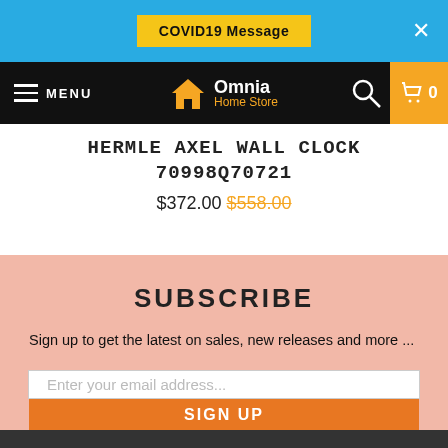COVID19 Message  ×
MENU  Omnia Home Store  0
HERMLE AXEL WALL CLOCK 70998Q70721
$372.00 $558.00
SUBSCRIBE
Sign up to get the latest on sales, new releases and more ...
Enter your email address...
SIGN UP